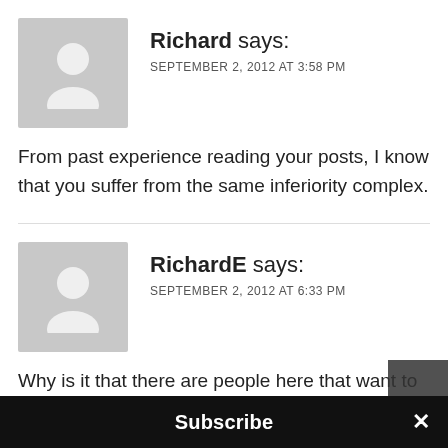Richard says: SEPTEMBER 2, 2012 AT 3:58 PM
From past experience reading your posts, I know that you suffer from the same inferiority complex.
RichardE says: SEPTEMBER 2, 2012 AT 6:33 PM
Why is it that there are people here that want to put others down when they use an M9, is it envy? This Leica bashing is just silly.
Subscribe